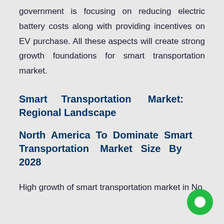government is focusing on reducing electric battery costs along with providing incentives on EV purchase. All these aspects will create strong growth foundations for smart transportation market.
Smart Transportation Market: Regional Landscape
North America To Dominate Smart Transportation Market Size By 2028
High growth of smart transportation market in No...